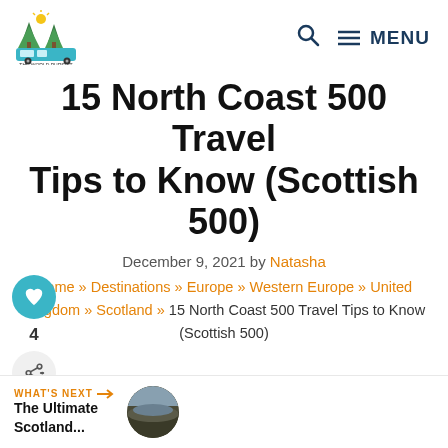The World Pursuit [logo] | Search | MENU
15 North Coast 500 Travel Tips to Know (Scottish 500)
December 9, 2021 by Natasha
Home » Destinations » Europe » Western Europe » United Kingdom » Scotland » 15 North Coast 500 Travel Tips to Know (Scottish 500)
[Figure (other): Heart/like button icon (teal circle with heart), count 4, share button]
WHAT'S NEXT → The Ultimate Scotland...
[Figure (photo): Circular thumbnail photo of a Scottish landscape (dark moorland/loch scene)]